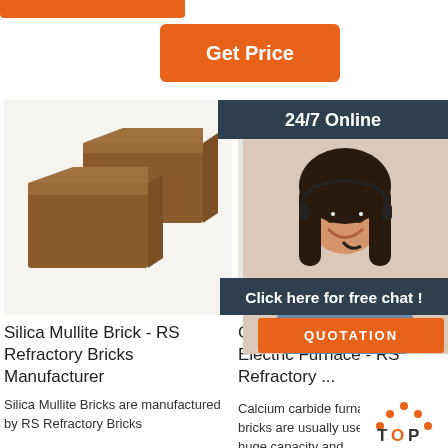[Figure (other): Orange bar at top left (partial, cropped)]
[Figure (other): Get Price orange button]
[Figure (photo): Photo of brown/clay silica mullite bricks]
Silica Mullite Brick - RS Refractory Bricks Manufacturer
Silica Mullite Bricks are manufactured by RS Refractory Bricks Manufacturer
[Figure (photo): Photo of gray carbon block brick]
Carbon Blocks Uses in Electric Furnace - RS Refractory ...
Calcium carbide furnace carbon bricks are usually used to mason huge capacity and
[Figure (photo): Partial photo of high-alumina brick (right side, cropped)]
Why Refra... Bricks for Hi... Temperature ...
High-alumina bricks are used areas with high-temperature
[Figure (photo): 24/7 Online chat agent - woman with headset]
24/7 Online
Click here for free chat !
QUOTATION
[Figure (other): TOP navigation button with orange dots logo]